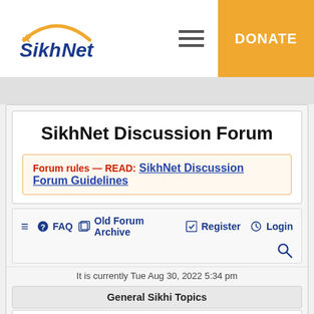SikhNet | DONATE
SikhNet Discussion Forum
Forum rules — READ: SikhNet Discussion Forum Guidelines
≡  ❓ FAQ    🗐 Old Forum Archive  ✎ Register  ⏻ Login
It is currently Tue Aug 30, 2022 5:34 pm
General Sikhi Topics
Sikhi Discussion
Discussions on various aspects of Sikhi